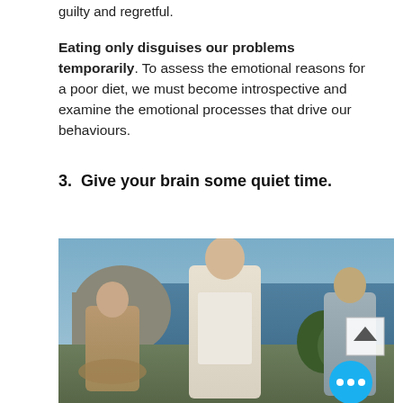guilty and regretful.
Eating only disguises our problems temporarily. To assess the emotional reasons for a poor diet, we must become introspective and examine the emotional processes that drive our behaviours.
3.  Give your brain some quiet time.
[Figure (photo): Three people meditating outdoors on a cliff overlooking the ocean. The central figure is a man in a white shirt with eyes closed in a meditative pose. Two other meditators sit on either side. A blue circular button with three dots and a scroll-up arrow box are overlaid on the image.]